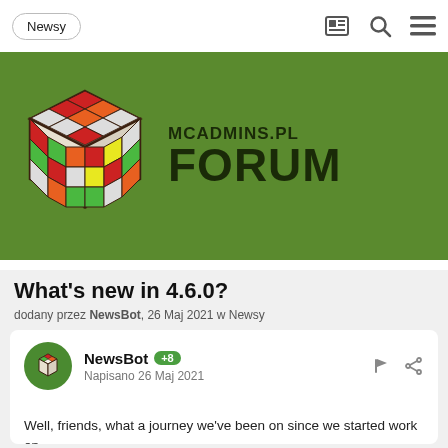Newsy
[Figure (logo): MCAdmins.pl Forum logo with a Rubik's cube icon on a green background. Text reads 'MCADMINS.PL FORUM']
What's new in 4.6.0?
dodany przez NewsBot, 26 Maj 2021 w Newsy
NewsBot +8 Napisano 26 Maj 2021
Well, friends, what a journey we've been on since we started work on